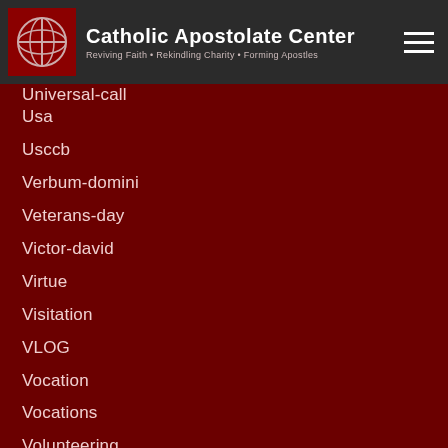Catholic Apostolate Center — Reviving Faith • Rekindling Charity • Forming Apostles
Universal-call
Usa
Usccb
Verbum-domini
Veterans-day
Victor-david
Virtue
Visitation
VLOG
Vocation
Vocations
Volunteering
Voting
Waiting
Walk-with-francis
Welcome
Wellness
Women In The Church